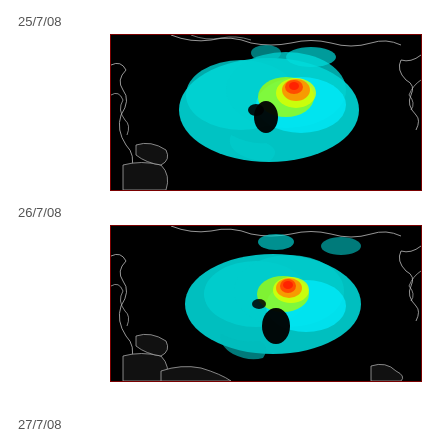25/7/08
[Figure (map): Arctic sea ice satellite image dated 25/7/08 showing ice concentration in false color (cyan, yellow, orange, red) on black background with white coastline outlines]
26/7/08
[Figure (map): Arctic sea ice satellite image dated 26/7/08 showing ice concentration in false color (cyan, yellow, orange, red) on black background with white coastline outlines]
27/7/08